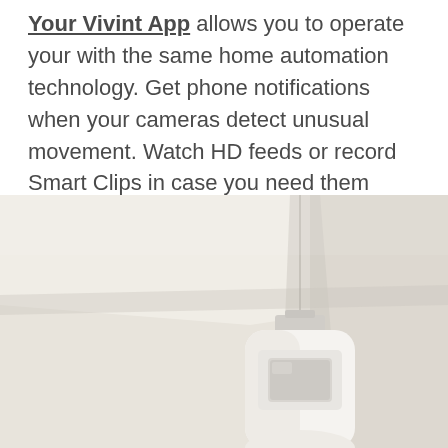Your Vivint App allows you to operate your with the same home automation technology. Get phone notifications when your cameras detect unusual movement. Watch HD feeds or record Smart Clips in case you need them later. Or talk with guests using the 2-way talk capabilities.
[Figure (photo): A white motion sensor or security camera device mounted in a room corner where two walls meet the ceiling. The device is white and rounded with a rectangular sensor window on its front face.]